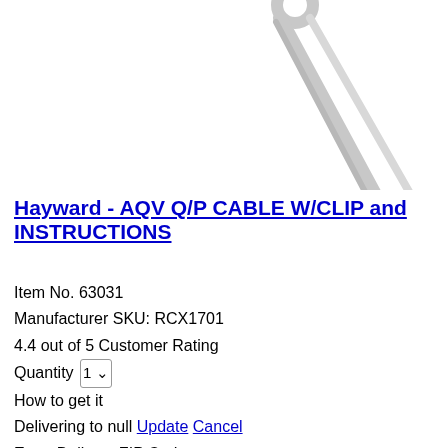[Figure (photo): Partial image of a cable product with clip, shown against white background. A grey diagonal line (cable) visible in the upper right corner area.]
Hayward - AQV Q/P CABLE W/CLIP and INSTRUCTIONS
Item No. 63031
Manufacturer SKU: RCX1701
4.4 out of 5 Customer Rating
Quantity 1
How to get it
Delivering to null Update Cancel
Enter Delivery ZIP Code